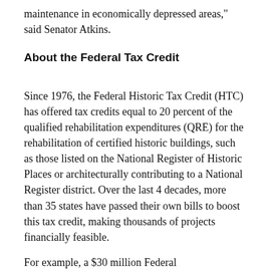maintenance in economically depressed areas," said Senator Atkins.
About the Federal Tax Credit
Since 1976, the Federal Historic Tax Credit (HTC) has offered tax credits equal to 20 percent of the qualified rehabilitation expenditures (QRE) for the rehabilitation of certified historic buildings, such as those listed on the National Register of Historic Places or architecturally contributing to a National Register district. Over the last 4 decades, more than 35 states have passed their own bills to boost this tax credit, making thousands of projects financially feasible.
For example, a $30 million Federal...